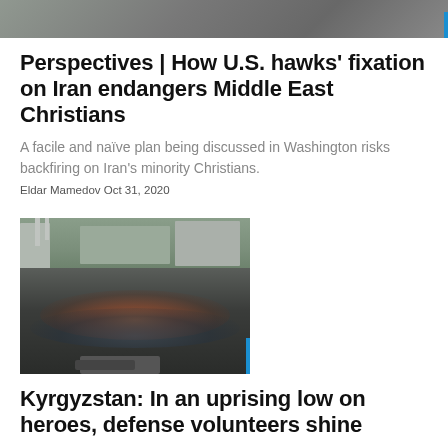[Figure (photo): Partial top image cropped at top of page, showing outdoor scene]
Perspectives | How U.S. hawks’ fixation on Iran endangers Middle East Christians
A facile and naïve plan being discussed in Washington risks backfiring on Iran’s minority Christians.
Eldar Mamedov Oct 31, 2020
[Figure (photo): Aerial view of a large crowd gathering in an outdoor plaza or square, with people holding flags and banners, buildings visible in background]
Kyrgyzstan: In an uprising low on heroes, defense volunteers shine
The appearance of the self-defense units is the second